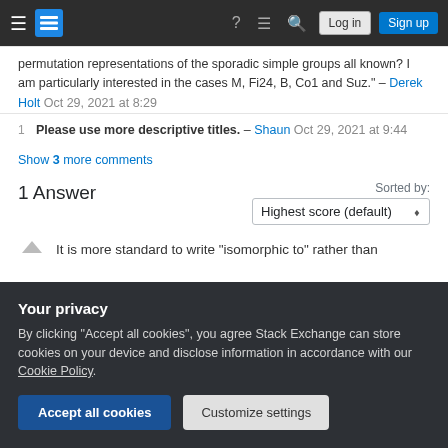Stack Exchange navigation bar with hamburger menu, logo, help icon, chat icon, search icon, Log in button, Sign up button
permutation representations of the sporadic simple groups all known? I am particularly interested in the cases M, Fi24, B, Co1 and Suz." – Derek Holt Oct 29, 2021 at 8:29
1   Please use more descriptive titles. – Shaun Oct 29, 2021 at 9:44
Show 3 more comments
1 Answer
Sorted by: Highest score (default)
It is more standard to write "isomorphic to" rather than
Your privacy
By clicking "Accept all cookies", you agree Stack Exchange can store cookies on your device and disclose information in accordance with our Cookie Policy.
Accept all cookies   Customize settings